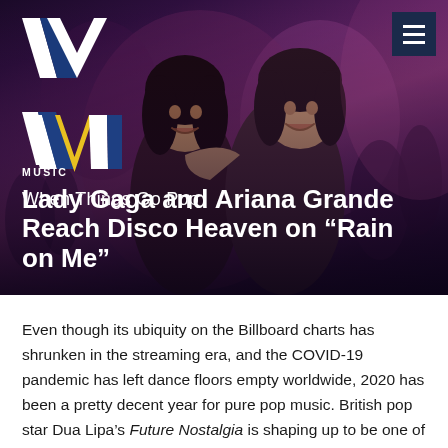[Figure (photo): Hero image showing two women (Lady Gaga and Ariana Grande) hugging and smiling, set against a dark purple/magenta concert/party background with blurred crowd figures. The When Things Go Pop website logo (stylized W in white, blue, and gold) and site name appear overlaid on the upper left. A hamburger menu icon appears in the upper right corner.]
When Things Go Pop
MUSIC
Lady Gaga and Ariana Grande Reach Disco Heaven on “Rain on Me”
Even though its ubiquity on the Billboard charts has shrunken in the streaming era, and the COVID-19 pandemic has left dance floors empty worldwide, 2020 has been a pretty decent year for pure pop music. British pop star Dua Lipa’s Future Nostalgia is shaping up to be one of the year’s landmark albums, while Harry